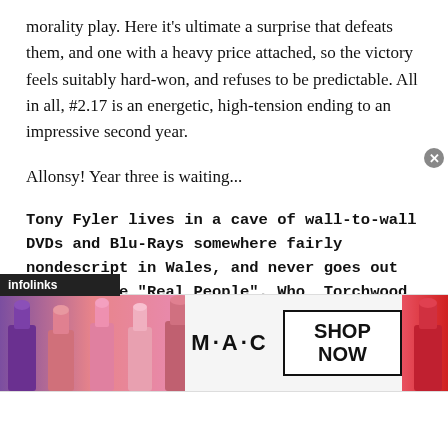morality play. Here it's ultimate a surprise that defeats them, and one with a heavy price attached, so the victory feels suitably hard-won, and refuses to be predictable. All in all, #2.17 is an energetic, high-tension ending to an impressive second year.
Allonsy! Year three is waiting...
Tony Fyler lives in a cave of wall-to-wall DVDs and Blu-Rays somewhere fairly nondescript in Wales, and never goes out to meet the "Real People". Who, Torchwood, Sherlock, Blake, Treks, Star Wars, obscure stuff from the 70s and 80s and comedy from the dawn
[Figure (photo): MAC Cosmetics advertisement banner showing colorful lipstick tubes on the left, MAC logo in the center, SHOP NOW button in a box, and a red lipstick on the right. An infolinks label is shown at the bottom left of the article content area.]